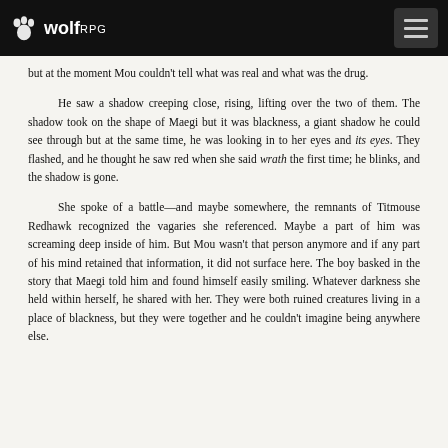wolfRPG
but at the moment Mou couldn't tell what was real and what was the drug.
He saw a shadow creeping close, rising, lifting over the two of them. The shadow took on the shape of Maegi but it was blackness, a giant shadow he could see through but at the same time, he was looking in to her eyes and its eyes. They flashed, and he thought he saw red when she said wrath the first time; he blinks, and the shadow is gone.
She spoke of a battle—and maybe somewhere, the remnants of Titmouse Redhawk recognized the vagaries she referenced. Maybe a part of him was screaming deep inside of him. But Mou wasn't that person anymore and if any part of his mind retained that information, it did not surface here. The boy basked in the story that Maegi told him and found himself easily smiling. Whatever darkness she held within herself, he shared with her. They were both ruined creatures living in a place of blackness, but they were together and he couldn't imagine being anywhere else.